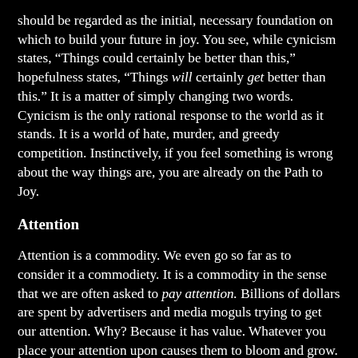should be regarded as the initial, necessary foundation on which to build your future in joy. You see, while cynicism states, “Things could certainly be better than this,” hopefulness states, “Things will certainly get better than this.” It is a matter of simply changing two words. Cynicism is the only rational response to the world as it stands. It is a world of hate, murder, and greedy competition. Instinctively, if you feel something is wrong about the way things are, you are already on the Path to Joy.
Attention
Attention is a commodity. We even go so far as to consider it a commodiety. It is a commodity in the sense that we are often asked to pay attention. Billions of dollars are spent by advertisers and media moguls trying to get our attention. Why? Because it has value. Whatever you place your attention upon causes them to bloom and grow. This is discussed further in the “Reality” section under Thoughts Are Things